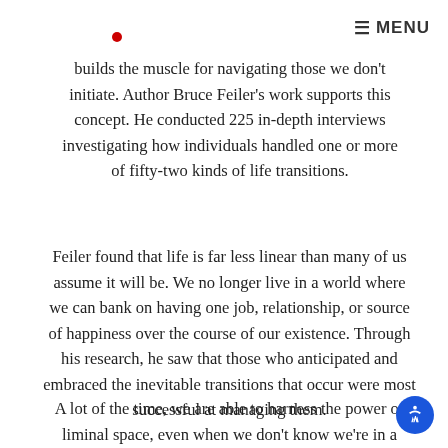≡MENU
builds the muscle for navigating those we don't initiate. Author Bruce Feiler's work supports this concept. He conducted 225 in-depth interviews investigating how individuals handled one or more of fifty-two kinds of life transitions.
Feiler found that life is far less linear than many of us assume it will be. We no longer live in a world where we can bank on having one job, relationship, or source of happiness over the course of our existence. Through his research, he saw that those who anticipated and embraced the inevitable transitions that occur were most successful at managing them.
A lot of the time, we are able to harness the power of liminal space, even when we don't know we're in a period of transition. But what if we could…